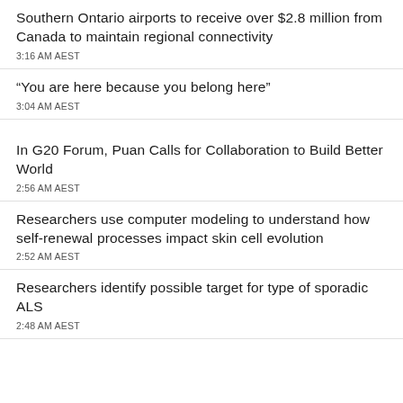Southern Ontario airports to receive over $2.8 million from Canada to maintain regional connectivity
3:16 AM AEST
“You are here because you belong here”
3:04 AM AEST
In G20 Forum, Puan Calls for Collaboration to Build Better World
2:56 AM AEST
Researchers use computer modeling to understand how self-renewal processes impact skin cell evolution
2:52 AM AEST
Researchers identify possible target for type of sporadic ALS
2:48 AM AEST